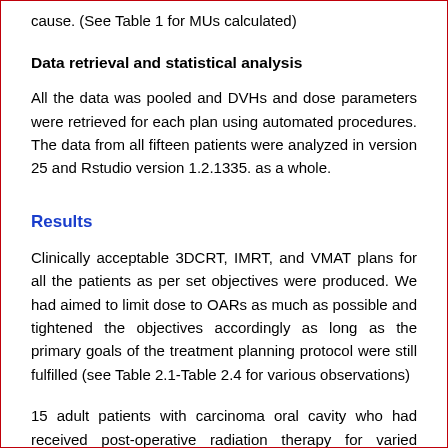cause. (See Table 1 for MUs calculated)
Data retrieval and statistical analysis
All the data was pooled and DVHs and dose parameters were retrieved for each plan using automated procedures. The data from all fifteen patients were analyzed in version 25 and Rstudio version 1.2.1335. as a whole.
Results
Clinically acceptable 3DCRT, IMRT, and VMAT plans for all the patients as per set objectives were produced. We had aimed to limit dose to OARs as much as possible and tightened the objectives accordingly as long as the primary goals of the treatment planning protocol were still fulfilled (see Table 2.1-Table 2.4 for various observations)
15 adult patients with carcinoma oral cavity who had received post-operative radiation therapy for varied standard indications were evaluated. Mean age was 46 years (39-58).